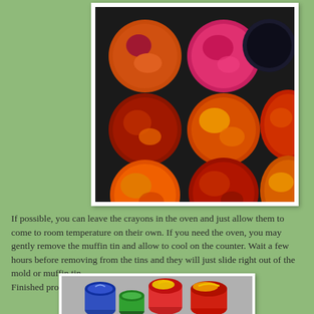[Figure (photo): A black muffin tin with 9 cups containing melted crayons in various colors including orange, red, pink, dark blue/black, and yellow swirled together, viewed from above.]
If possible, you can leave the crayons in the oven and just allow them to come to room temperature on their own. If you need the oven, you may gently remove the muffin tin and allow to cool on the counter. Wait a few hours before removing from the tins and they will just slide right out of the mold or muffin tin. Finished product:
[Figure (photo): Finished crayon products: colorful round crayons in bright colors including red, yellow, blue, green, and swirled multicolor designs, sitting on a surface.]